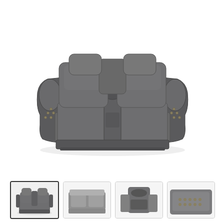[Figure (photo): Gray reclining loveseat with center console, rolled arms with nailhead trim, viewed from front, upholstered in dark gray fabric]
[Figure (photo): Thumbnail 1: front view of gray reclining loveseat (selected/active)]
[Figure (photo): Thumbnail 2: close-up side detail of gray reclining loveseat]
[Figure (photo): Thumbnail 3: close-up of center console area of gray reclining loveseat]
[Figure (photo): Thumbnail 4: close-up of arm nailhead trim detail of gray reclining loveseat]